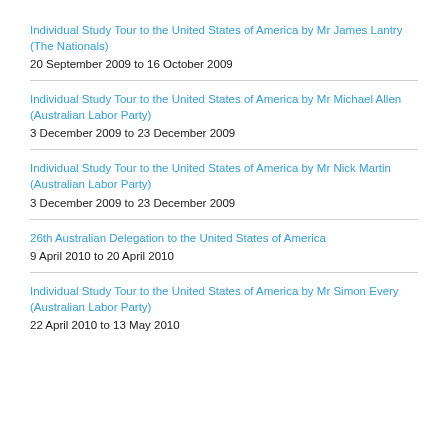Individual Study Tour to the United States of America by Mr James Lantry (The Nationals)
20 September 2009 to 16 October 2009
Individual Study Tour to the United States of America by Mr Michael Allen (Australian Labor Party)
3 December 2009 to 23 December 2009
Individual Study Tour to the United States of America by Mr Nick Martin (Australian Labor Party)
3 December 2009 to 23 December 2009
26th Australian Delegation to the United States of America
9 April 2010 to 20 April 2010
Individual Study Tour to the United States of America by Mr Simon Every (Australian Labor Party)
22 April 2010 to 13 May 2010